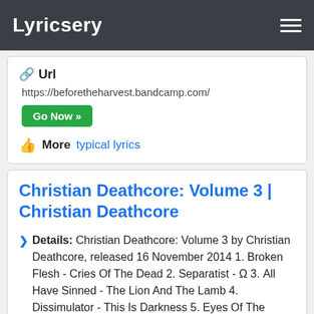Lyricsery
Url
https://beforetheharvest.bandcamp.com/
Go Now »
More   typical lyrics
Christian Deathcore: Volume 3 | Christian Deathcore
Details: Christian Deathcore: Volume 3 by Christian Deathcore, released 16 November 2014 1. Broken Flesh - Cries Of The Dead 2. Separatist - Ω 3. All Have Sinned - The Lion And The Lamb 4. Dissimulator - This Is Darkness 5. Eyes Of The